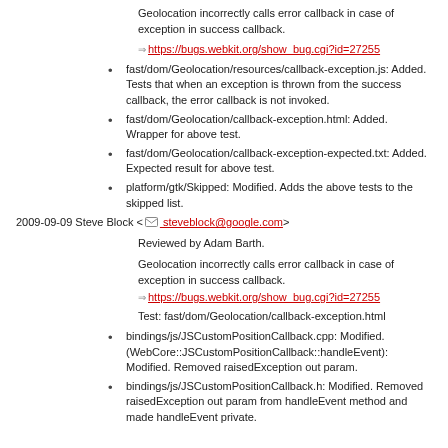Geolocation incorrectly calls error callback in case of exception in success callback.
https://bugs.webkit.org/show_bug.cgi?id=27255
fast/dom/Geolocation/resources/callback-exception.js: Added. Tests that when an exception is thrown from the success callback, the error callback is not invoked.
fast/dom/Geolocation/callback-exception.html: Added. Wrapper for above test.
fast/dom/Geolocation/callback-exception-expected.txt: Added. Expected result for above test.
platform/gtk/Skipped: Modified. Adds the above tests to the skipped list.
2009-09-09 Steve Block <steveblock@google.com>
Reviewed by Adam Barth.
Geolocation incorrectly calls error callback in case of exception in success callback.
https://bugs.webkit.org/show_bug.cgi?id=27255
Test: fast/dom/Geolocation/callback-exception.html
bindings/js/JSCustomPositionCallback.cpp: Modified. (WebCore::JSCustomPositionCallback::handleEvent): Modified. Removed raisedException out param.
bindings/js/JSCustomPositionCallback.h: Modified. Removed raisedException out param from handleEvent method and made handleEvent private.